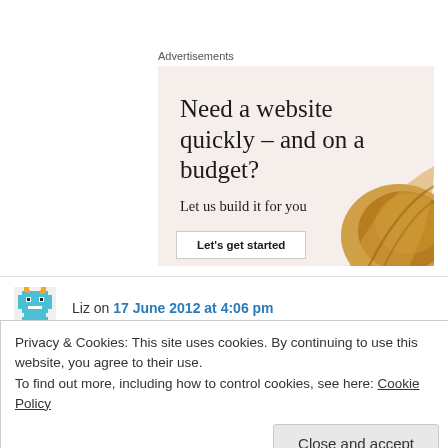Advertisements
[Figure (illustration): Advertisement banner with beige background showing text 'Need a website quickly – and on a budget? Let us build it for you' with a 'Let's get started' button and a croissant image on the right.]
Liz on 17 June 2012 at 4:06 pm
Privacy & Cookies: This site uses cookies. By continuing to use this website, you agree to their use.
To find out more, including how to control cookies, see here: Cookie Policy
Close and accept